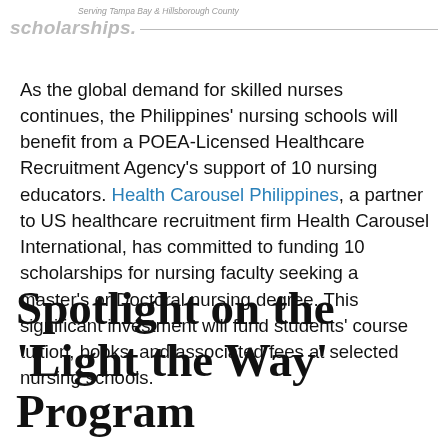Serving Tampa Bay & Hillsborough County
scholarships.
As the global demand for skilled nurses continues, the Philippines' nursing schools will benefit from a POEA-Licensed Healthcare Recruitment Agency's support of 10 nursing educators. Health Carousel Philippines, a partner to US healthcare recruitment firm Health Carousel International, has committed to funding 10 scholarships for nursing faculty seeking a master's or Doctoral nursing degree. This significant investment will fund students' course tuition, books, and associated fees at selected nursing schools.
Spotlight on the 'Light the Way' Program